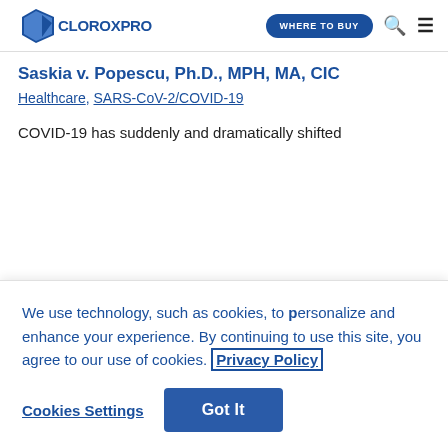CLOROXPRO | WHERE TO BUY
Saskia v. Popescu, Ph.D., MPH, MA, CIC
Healthcare, SARS-CoV-2/COVID-19
COVID-19 has suddenly and dramatically shifted
We use technology, such as cookies, to personalize and enhance your experience. By continuing to use this site, you agree to our use of cookies. Privacy Policy
Cookies Settings | Got It